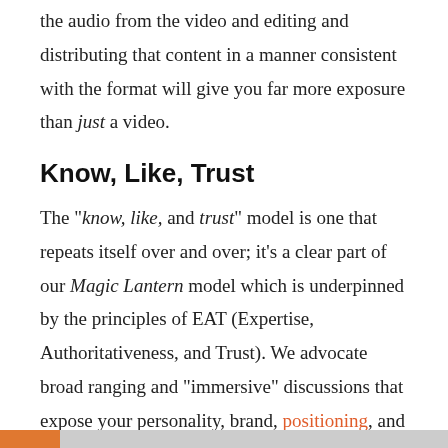the audio from the video and editing and distributing that content in a manner consistent with the format will give you far more exposure than just a video.
Know, Like, Trust
The "know, like, and trust" model is one that repeats itself over and over; it's a clear part of our Magic Lantern model which is underpinned by the principles of EAT (Expertise, Authoritativeness, and Trust). We advocate broad ranging and "immersive" discussions that expose your personality, brand, positioning, and company culture. We